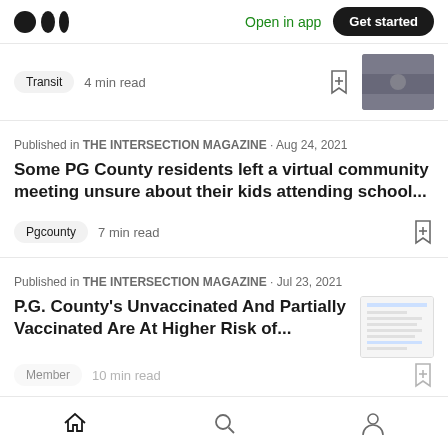Medium logo | Open in app | Get started
Transit  4 min read
Published in THE INTERSECTION MAGAZINE · Aug 24, 2021
Some PG County residents left a virtual community meeting unsure about their kids attending school...
Pgcounty  7 min read
Published in THE INTERSECTION MAGAZINE · Jul 23, 2021
P.G. County's Unvaccinated And Partially Vaccinated Are At Higher Risk of...
Home | Search | Profile